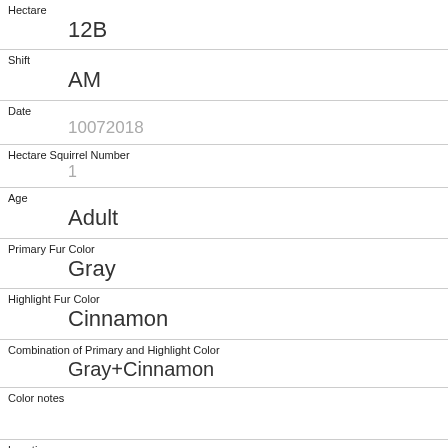Hectare: 12B
Shift: AM
Date: 10072018
Hectare Squirrel Number: 1
Age: Adult
Primary Fur Color: Gray
Highlight Fur Color: Cinnamon
Combination of Primary and Highlight Color: Gray+Cinnamon
Color notes:
Location: Ground Plane
Above Ground Sighter Measurement